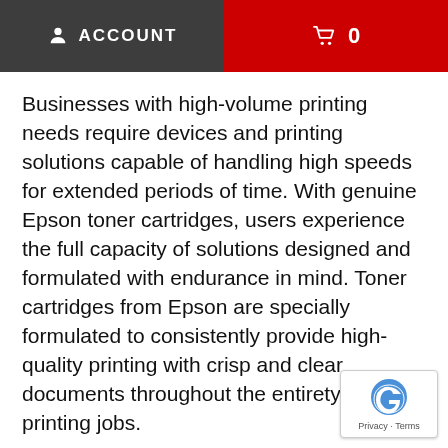ACCOUNT  🛒 0
Businesses with high-volume printing needs require devices and printing solutions capable of handling high speeds for extended periods of time. With genuine Epson toner cartridges, users experience the full capacity of solutions designed and formulated with endurance in mind. Toner cartridges from Epson are specially formulated to consistently provide high-quality printing with crisp and clear documents throughout the entirety of large printing jobs.
Prolific work environments rely on efficiency to save time, money, and labor to get jobs done. Epson toner cartridges with high-speed endurance make s... get the job done swiftly so you and your busin... keep moving forward. Designing cartridges capable